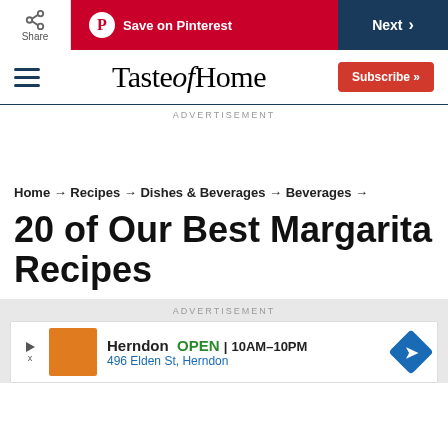Share | Save on Pinterest | Next
Taste of Home
ADVERTISEMENT
Home → Recipes → Dishes & Beverages → Beverages →
20 of Our Best Margarita Recipes
ADVERTISEMENT
Herndon OPEN 10AM–10PM 496 Elden St, Herndon